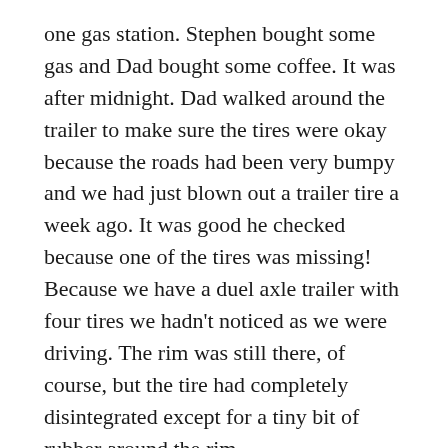one gas station. Stephen bought some gas and Dad bought some coffee. It was after midnight. Dad walked around the trailer to make sure the tires were okay because the roads had been very bumpy and we had just blown out a trailer tire a week ago. It was good he checked because one of the tires was missing! Because we have a duel axle trailer with four tires we hadn't noticed as we were driving. The rim was still there, of course, but the tire had completely disintegrated except for a tiny bit of rubber around the rim.
Dad and Stephen knew we didn't have the right jack with us. So before attempting to use our two van jacks, Dad decided to see if the gas station had a floor jack. He noticed two employees standing outside smoking and he asked them if they knew where we could find a jack for our trailer.
“Oh, we’ll fix the tire for you,” they said, “we work at the tire